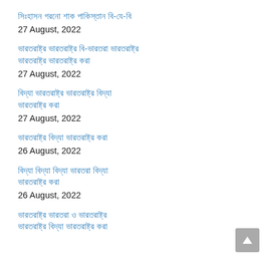[Bengali script title 1]
27 August, 2022
[Bengali script title 2]
27 August, 2022
[Bengali script title 3]
27 August, 2022
[Bengali script title 4]
26 August, 2022
[Bengali script title 5]
26 August, 2022
[Bengali script title 6 - partial]